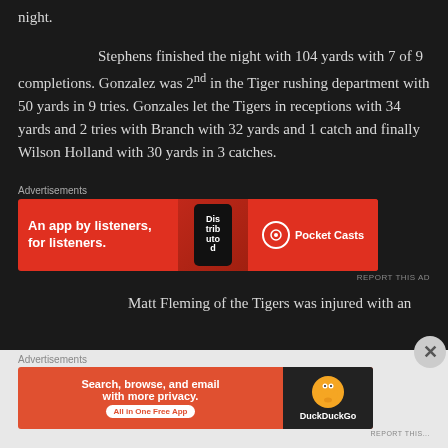night.
Stephens finished the night with 104 yards with 7 of 9 completions. Gonzalez was 2nd in the Tiger rushing department with 50 yards in 9 tries. Gonzales let the Tigers in receptions with 34 yards and 2 tries with Branch with 32 yards and 1 catch and finally Wilson Holland with 30 yards in 3 catches.
[Figure (infographic): Pocket Casts advertisement banner: 'An app by listeners, for listeners.' with phone graphic and Pocket Casts logo on red background]
Matt Fleming of the Tigers was injured with an
[Figure (infographic): DuckDuckGo advertisement banner: 'Search, browse, and email with more privacy. All in One Free App' on orange-red background with DuckDuckGo logo]